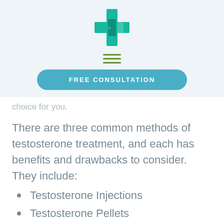[Figure (logo): Teal medical cross/door logo icon]
[Figure (other): Hamburger menu icon (three horizontal green lines)]
[Figure (other): Blue pill-shaped button with text FREE CONSULTATION]
choice for you.
There are three common methods of testosterone treatment, and each has benefits and drawbacks to consider. They include:
Testosterone Injections
Testosterone Pellets